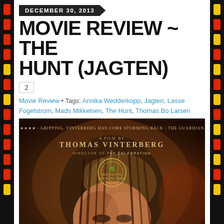DECEMBER 30, 2013
MOVIE REVIEW ~ THE HUNT (JAGTEN)
2
Movie Review • Tags: Annika Wedderkopp, Jagten, Lasse Fogelstrom, Mads Mikkelsen, The Hunt, Thomas Bo Larsen
[Figure (photo): Movie poster for The Hunt (Jagten) directed by Thomas Vinterberg. Shows a close-up of a man's face with brown hair. Text on poster reads: ★★★★ - GRIPPING, VINTERBERG HAS COME STORMING BACK - THE GUARDIAN. A FILM BY THOMAS VINTERBERG. DIRECTOR OF THE CELEBRATION. Cannes Best Actor Festival de Cannes laurel.]